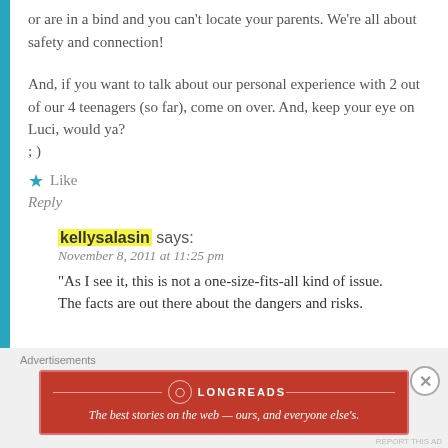or are in a bind and you can't locate your parents. We're all about safety and connection!
And, if you want to talk about our personal experience with 2 out of our 4 teenagers (so far), come on over. And, keep your eye on Luci, would ya?
; )
Like
Reply
kellysalasin says:
November 8, 2011 at 11:25 pm
"As I see it, this is not a one-size-fits-all kind of issue. The facts are out there about the dangers and risks.
Advertisements
[Figure (other): Longreads advertisement banner. Red background with white text: 'The best stories on the web — ours, and everyone else's.']